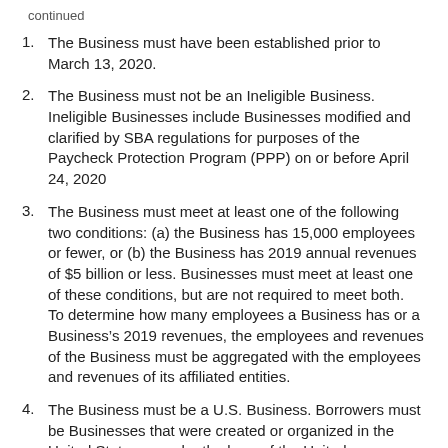continued
The Business must have been established prior to March 13, 2020.
The Business must not be an Ineligible Business. Ineligible Businesses include Businesses modified and clarified by SBA regulations for purposes of the Paycheck Protection Program (PPP) on or before April 24, 2020
The Business must meet at least one of the following two conditions: (a) the Business has 15,000 employees or fewer, or (b) the Business has 2019 annual revenues of $5 billion or less. Businesses must meet at least one of these conditions, but are not required to meet both. To determine how many employees a Business has or a Business’s 2019 revenues, the employees and revenues of the Business must be aggregated with the employees and revenues of its affiliated entities.
The Business must be a U.S. Business. Borrowers must be Businesses that were created or organized in the United States or under the laws of the United